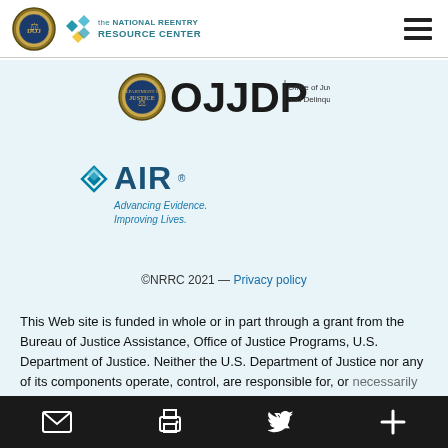the NATIONAL REENTRY RESOURCE CENTER
[Figure (logo): OJJDP - Office of Juvenile Justice and Delinquency Prevention logo with DOJ seal]
[Figure (logo): AIR - Advancing Evidence. Improving Lives. logo]
©NRRC 2021 — Privacy policy
This Web site is funded in whole or in part through a grant from the Bureau of Justice Assistance, Office of Justice Programs, U.S. Department of Justice. Neither the U.S. Department of Justice nor any of its components operate, control, are responsible for, or necessarily endorse, this Web site (including, without limitation, its